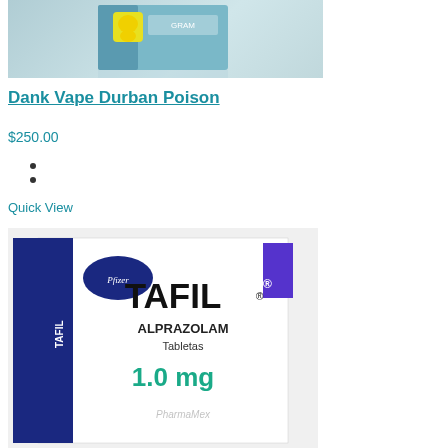[Figure (photo): Product image of Dank Vape Durban Poison box with a yellow duck character on a blue/teal box]
Dank Vape Durban Poison
$250.00
Quick View
[Figure (photo): Pfizer Tafil Alprazolam Tabletas 1.0 mg box — dark blue and white packaging with Pfizer logo and PharmaMex watermark]